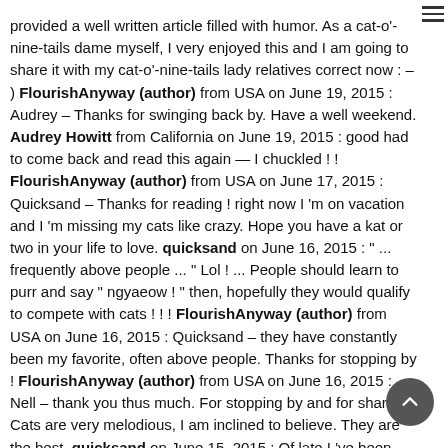provided a well written article filled with humor. As a cat-o'-nine-tails dame myself, I very enjoyed this and I am going to share it with my cat-o'-nine-tails lady relatives correct now : – ) FlourishAnyway (author) from USA on June 19, 2015 : Audrey – Thanks for swinging back by. Have a well weekend. Audrey Howitt from California on June 19, 2015 : good had to come back and read this again — I chuckled ! ! FlourishAnyway (author) from USA on June 17, 2015 : Quicksand – Thanks for reading ! right now I 'm on vacation and I 'm missing my cats like crazy. Hope you have a kat or two in your life to love. quicksand on June 16, 2015 : " ... frequently above people ... " Lol ! ... People should learn to purr and say " ngyaeow ! " then, hopefully they would qualify to compete with cats ! ! ! FlourishAnyway (author) from USA on June 16, 2015 : Quicksand – they have constantly been my favorite, often above people. Thanks for stopping by ! FlourishAnyway (author) from USA on June 16, 2015 : Nell – thank you thus much. For stopping by and for sharing Cats are very melodious, I am inclined to believe. They are the best. quicksand on June 15, 2015 : Of late I 've been seeing many articles on cats. At survive the animal is getting its ascribable recognition ! Cheers ! Nell Rose from England on June 15, 2015 : Oh those was fantastic ! I am singing along with 'dear future husband ' at the same fourth